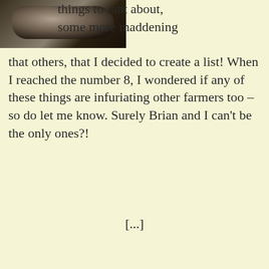[Figure (photo): Photo of animals (appears to be cats or farm animals) in a dark outdoor setting]
things to rant about, some more maddening that others, that I decided to create a list! When I reached the number 8, I wondered if any of these things are infuriating other farmers too – so do let me know. Surely Brian and I can't be the only ones?!
[...]